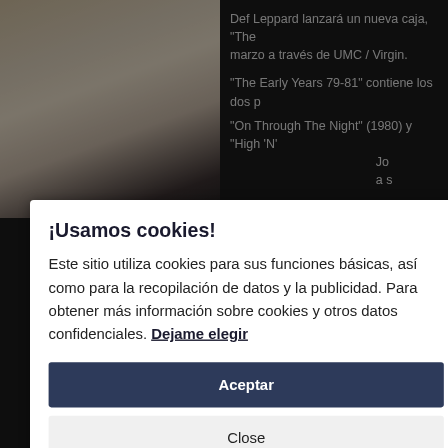[Figure (screenshot): Dark background webpage showing partial image of cherub/angel on the left and text about Def Leppard on the right]
¡Usamos cookies!
Este sitio utiliza cookies para sus funciones básicas, así como para la recopilación de datos y la publicidad. Para obtener más información sobre cookies y otros datos confidenciales. Dejame elegir
Aceptar
Close